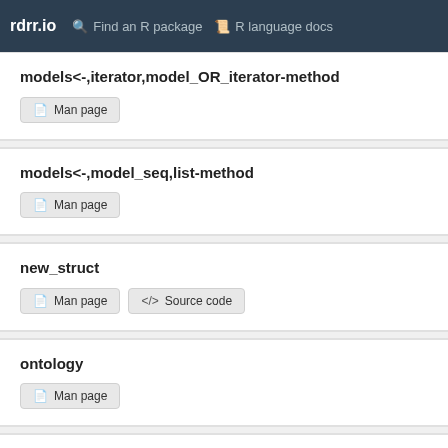rdrr.io  Find an R package  R language docs
models<-,iterator,model_OR_iterator-method
Man page
models<-,model_seq,list-method
Man page
new_struct
Man page  Source code
ontology
Man page
ontology,struct_class-method
Man page